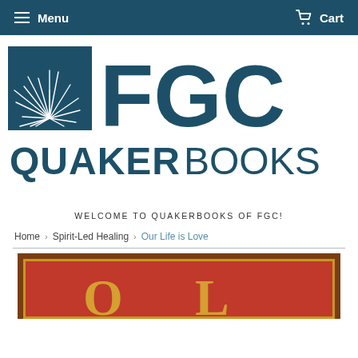Menu  Cart
[Figure (logo): FGC QuakerBooks logo with a square plant/firework graphic on the left and 'FGC' large text on the right, with 'QUAKERBOOKS' below in dark teal]
WELCOME TO QUAKERBOOKS OF FGC!
Home > Spirit-Led Healing > Our Life is Love
[Figure (photo): Partial view of a book cover with dark brown border framing, gold inner border, and red background — bottom portion cropped off]